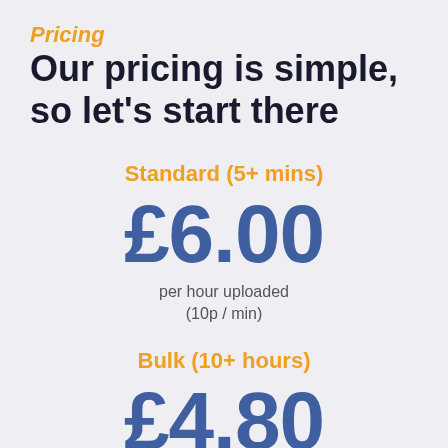Pricing
Our pricing is simple, so let's start there
Standard (5+ mins)
£6.00
per hour uploaded
(10p / min)
Bulk (10+ hours)
£4.80